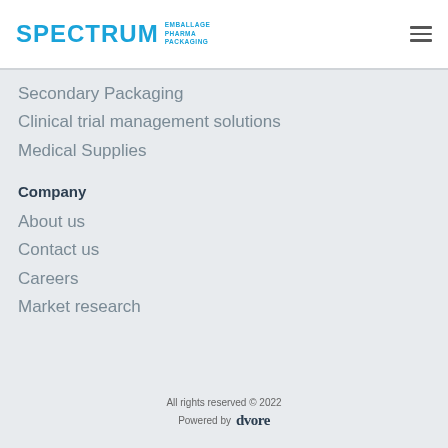SPECTRUM EMBALLAGE PHARMA PACKAGING
Secondary Packaging
Clinical trial management solutions
Medical Supplies
Company
About us
Contact us
Careers
Market research
All rights reserved © 2022
Powered by dvore